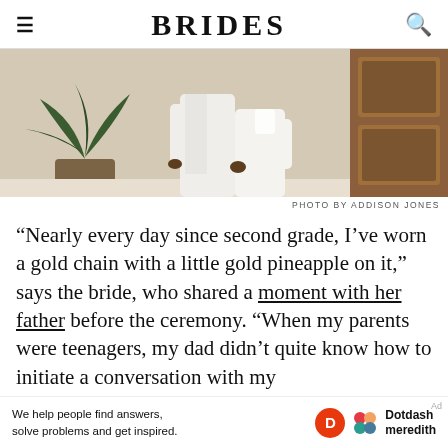BRIDES
[Figure (photo): Cropped image of a couple in white attire, with a potted plant on the left and a wooden door on the right.]
PHOTO BY ADDISON JONES
“Nearly every day since second grade, I’ve worn a gold chain with a little gold pineapple on it,” says the bride, who shared a moment with her father before the ceremony. “When my parents were teenagers, my dad didn’t quite know how to initiate a conversation with my
Ad
We help people find answers, solve problems and get inspired.
Dotdash meredith